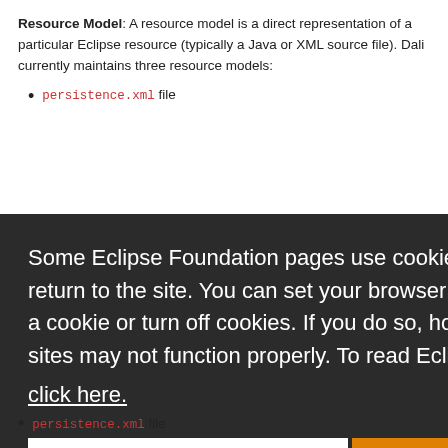Resource Model: A resource model is a direct representation of a particular Eclipse resource (typically a Java or XML source file). Dali currently maintains three resource models:
persistence.xml file
Some Eclipse Foundation pages use cookies to better serve you when you return to the site. You can set your browser to notify you before you receive a cookie or turn off cookies. If you do so, however, some areas of some sites may not function properly. To read Eclipse Foundation Privacy Policy click here.
Decline | Allow cookies
persistence.xml file